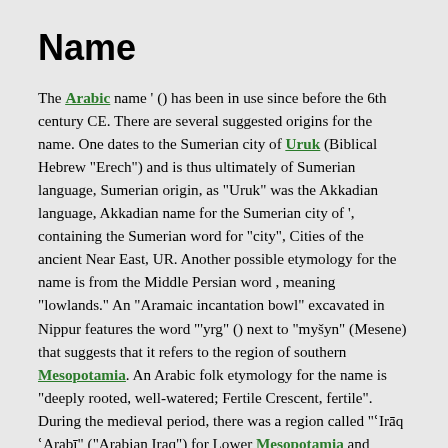Name
The Arabic name ' () has been in use since before the 6th century CE. There are several suggested origins for the name. One dates to the Sumerian city of Uruk (Biblical Hebrew "Erech") and is thus ultimately of Sumerian language, Sumerian origin, as "Uruk" was the Akkadian language, Akkadian name for the Sumerian city of ', containing the Sumerian word for "city", Cities of the ancient Near East, UR. Another possible etymology for the name is from the Middle Persian word , meaning "lowlands." An “Aramaic incantation bowl” excavated in Nippur features the word "’yrg" () next to "myšyn" (Mesene) that suggests that it refers to the region of southern Mesopotamia. An Arabic folk etymology for the name is "deeply rooted, well-watered; Fertile Crescent, fertile". During the medieval period, there was a region called "ʿIrāq ʿArabī" ("Arabian Iraq") for Lower Mesopotamia and "Persian Iraq, ʿIrāq ʿAjamī" ("Persian Iraq"), for the region now situated in Central and Western Iran. The term historically included